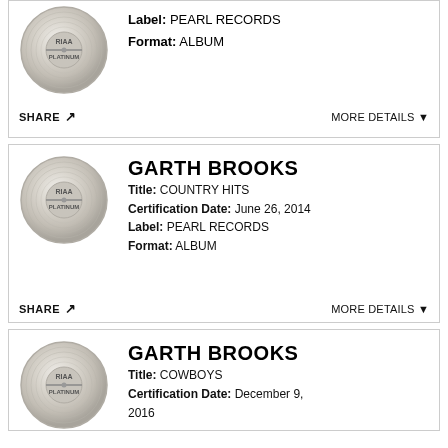[Figure (logo): RIAA Platinum record logo (cropped card, partial view)]
Label: PEARL RECORDS
Format: ALBUM
SHARE  MORE DETAILS
[Figure (logo): RIAA Platinum record logo]
GARTH BROOKS
Title: COUNTRY HITS
Certification Date: June 26, 2014
Label: PEARL RECORDS
Format: ALBUM
SHARE  MORE DETAILS
[Figure (logo): RIAA Platinum record logo]
GARTH BROOKS
Title: COWBOYS
Certification Date: December 9, 2016